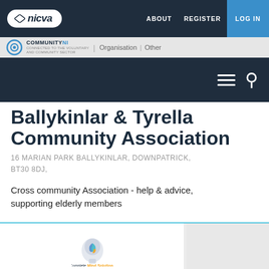nicva | ABOUT   REGISTER   LOG IN
Organisation | Other
Ballykinlar & Tyrella Community Association
16 MARIAN PARK BALLYKINLAR, DOWNPATRICK, BT30 8DJ,
Cross community Association - help & advice, supporting elderly members
[Figure (logo): Complete Mind Solutions logo - stylized head silhouette with swirling colors (teal, orange, blue) and text 'Complete Mind Solutions' below]